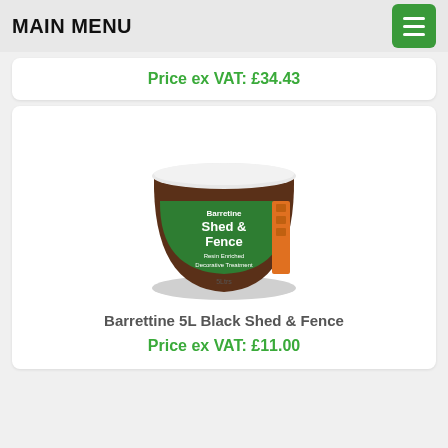MAIN MENU
Price ex VAT: £34.43
[Figure (photo): Barretine 5L Black Shed & Fence product tub, with green label showing 'Shed & Fence' branding and reddish-brown fence imagery]
Barrettine 5L Black Shed & Fence
Price ex VAT: £11.00